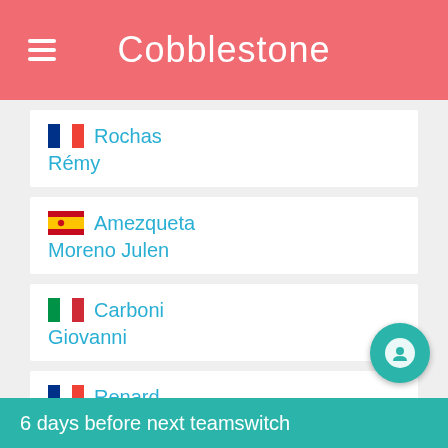Cobblestone
Rochas Rémy
Amezqueta Moreno Julen
Carboni Giovanni
Renard Alexis
6 days before next teamswitch